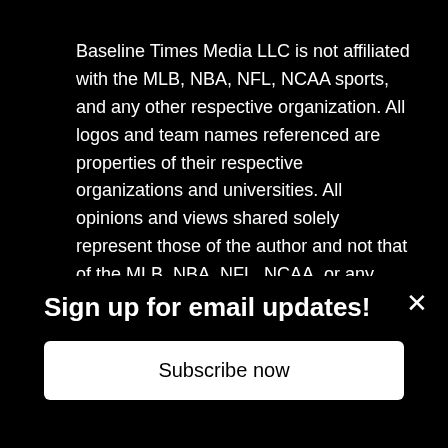Baseline Times Media LLC is not affiliated with the MLB, NBA, NFL, NCAA sports, and any other respective organization. All logos and team names referenced are properties of their respective organizations and universities. All opinions and views shared solely represent those of the author and not that of the MLB, NBA, NFL, NCAA, or any other sports organization.
Baseline Times Media LLC also does not claim to own any image on the site that is not of original authorship by its members. All images on Baseline Times Media LLC have been
Sign up for email updates!
Subscribe now